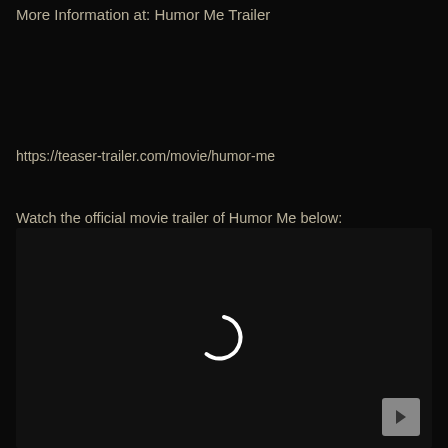More Information at: Humor Me Trailer
https://teaser-trailer.com/movie/humor-me
Watch the official movie trailer of Humor Me below:
[Figure (screenshot): Video player area showing a loading spinner (partially drawn circle arc in white) and a gray play button in the bottom right corner, on a black background.]